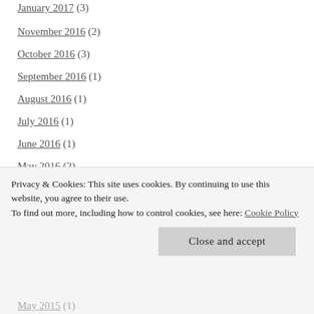January 2017 (3)
November 2016 (2)
October 2016 (3)
September 2016 (1)
August 2016 (1)
July 2016 (1)
June 2016 (1)
May 2016 (2)
April 2016 (3)
February 2016 (4)
January 2016 (3)
December 2015 (2)
November 2015 (1)
May 2015 (1)
Privacy & Cookies: This site uses cookies. By continuing to use this website, you agree to their use. To find out more, including how to control cookies, see here: Cookie Policy
Close and accept